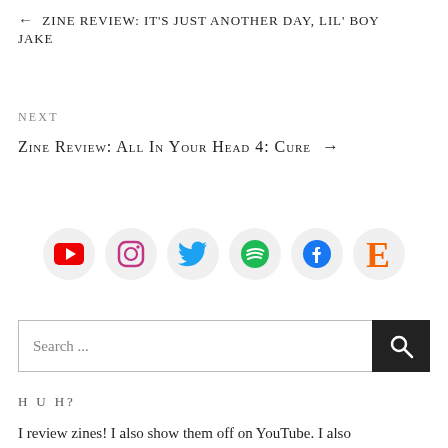← ZINE REVIEW: IT'S JUST ANOTHER DAY, LIL' BOY JAKE
NEXT
Zine Review: All in Your Head 4: Cure →
[Figure (infographic): Six social media icons in circles: YouTube (red), Instagram (pink/purple gradient outline), Twitter (blue), Spotify (green), Facebook (blue), Etsy (orange E)]
Search ...
HUH?
I review zines! I also show them off on YouTube. I also